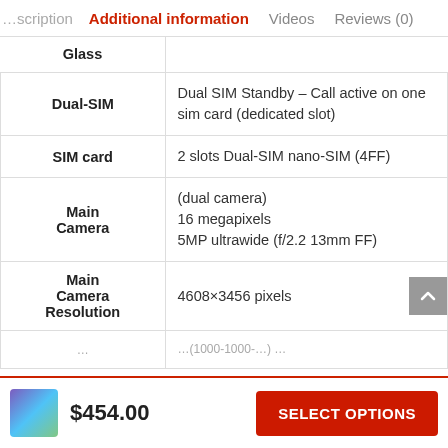…scription | Additional information | Videos | Reviews (0)
| Attribute | Value |
| --- | --- |
| Glass |  |
| Dual-SIM | Dual SIM Standby – Call active on one sim card (dedicated slot) |
| SIM card | 2 slots Dual-SIM nano-SIM (4FF) |
| Main Camera | (dual camera) 16 megapixels 5MP ultrawide (f/2.2 13mm FF) |
| Main Camera Resolution | 4608×3456 pixels |
| … | …(1000-1000-…) … |
$454.00
SELECT OPTIONS